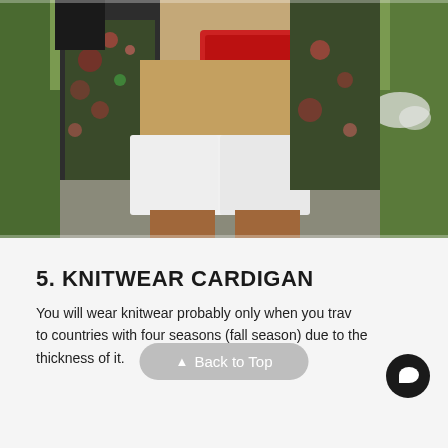[Figure (photo): Outdoor fashion photo showing a woman from the waist down wearing white shorts and a floral kimono/cardigan, holding a red clutch purse. A white dog is visible blurred in the background on a path.]
5. KNITWEAR CARDIGAN
You will wear knitwear probably only when you travel to countries with four seasons (fall season) due to the thickness of it.